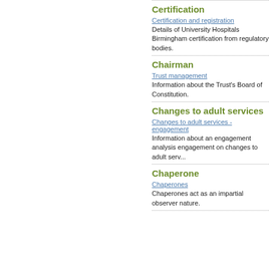Certification
Certification and registration
Details of University Hospitals Birmingham certification from regulatory bodies.
Chairman
Trust management
Information about the Trust's Board of Constitution.
Changes to adult services
Changes to adult services - engagement
Information about an engagement analysis engagement on changes to adult services.
Chaperone
Chaperones
Chaperones act as an impartial observer nature.